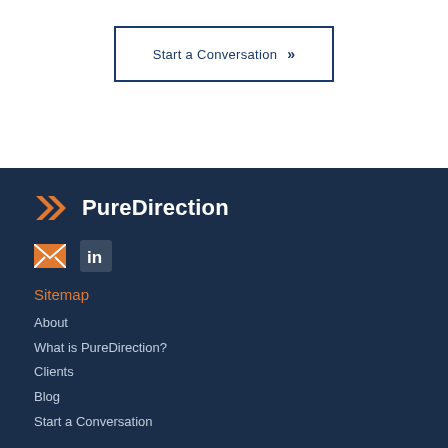Start a Conversation >>
[Figure (logo): PureDirection logo with orange double-chevron icon and white text on dark navy background]
[Figure (infographic): Email icon (orange envelope) and LinkedIn icon (white 'in' on dark square)]
Sitemap
About
What is PureDirection?
Clients
Blog
Start a Conversation